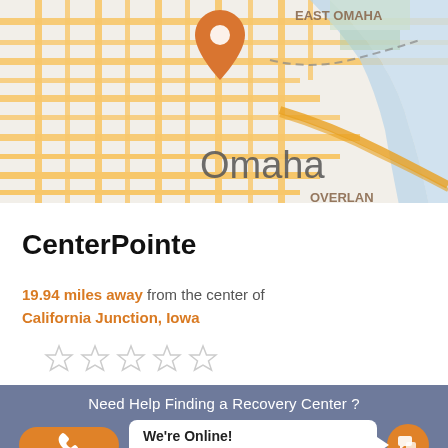[Figure (map): Street map of Omaha, Nebraska showing city streets in yellow/orange grid pattern with a river on the right side. An orange location pin marker is placed near the center-top of the map. Text labels show 'Omaha' in large gray letters, 'EAST OMAHA' in the upper right, and 'OVERLAN' (truncated) in the lower right.]
CenterPointe
19.94 miles away from the center of California Junction, Iowa
[Figure (other): Five empty/outlined star rating icons in light gray, indicating no rating.]
Need Help Finding a Recovery Center ?
We're Online! How may I help you today?